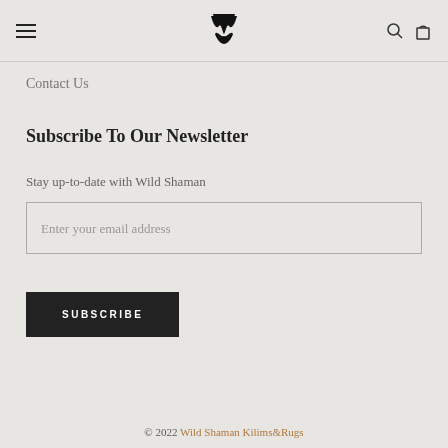[Figure (logo): Wild Shaman logo — stylized black abstract bird/wave mark centered in header]
Contact Us
Subscribe To Our Newsletter
Stay up-to-date with Wild Shaman
Enter your email address
SUBSCRIBE
© 2022 Wild Shaman Kilims&Rugs